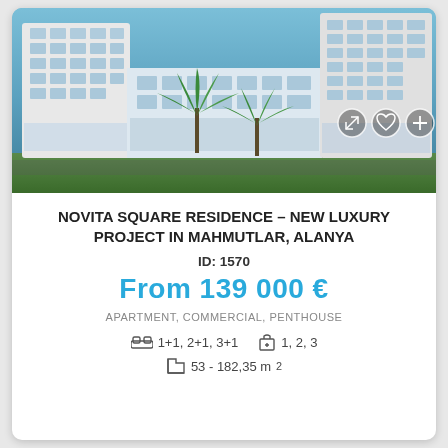[Figure (photo): Exterior rendering of Novita Square Residence, a modern white luxury apartment complex with multiple towers, palm trees, and a blue sky background. Small icon buttons (expand, heart, plus) visible at bottom right.]
NOVITA SQUARE RESIDENCE – NEW LUXURY PROJECT IN MAHMUTLAR, ALANYA
ID: 1570
From 139 000 €
APARTMENT, COMMERCIAL, PENTHOUSE
1+1, 2+1, 3+1   1, 2, 3
53 - 182,35 m²